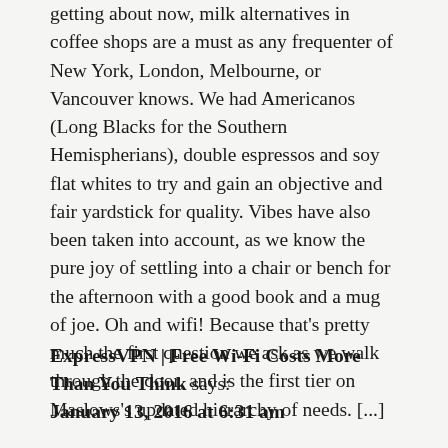getting about now, milk alternatives in coffee shops are a must as any frequenter of New York, London, Melbourne, or Vancouver knows. We had Americanos (Long Blacks for the Southern Hemispherians), double espressos and soy flat whites to try and gain an objective and fair yardstick for quality. Vibes have also been taken into account, as we know the pure joy of settling into a chair or bench for the afternoon with a good book and a mug of joe. Oh and wifi! Because that's pretty much the first question we ask as we walk through the door, and is the first tier on Maslows's updated hierarchy of needs. [...]
ExpressVPN | Free Wi-Fi Costs More Than You Think says:
January 13, 2016 at 6:31 am